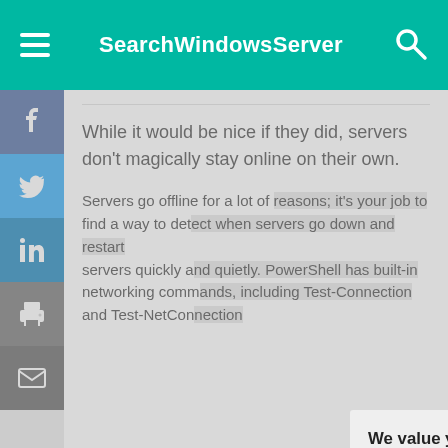SearchWindowsServer
While it would be nice if they did, servers don't magically stay online on their own.
Servers go offline for a lot of reasons; it's your job to find a way to detect when servers go down and restart servers quickly and quietly. PowerShell has built-in networking commands, including Test-Connection and Test-NetConnection
We value your privacy.
TechTarget and its partners employ cookies to improve your experience on our site, to analyze traffic and performance, and to serve personalized content and advertising that are relevant to your professional interests. You can manage your settings at any time. Please view our Privacy Policy for more information
OK
Settings